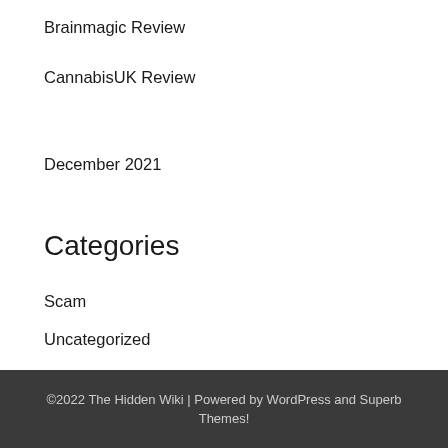Brainmagic Review
CannabisUK Review
December 2021
Categories
Scam
Uncategorized
©2022 The Hidden Wiki | Powered by WordPress and Superb Themes!